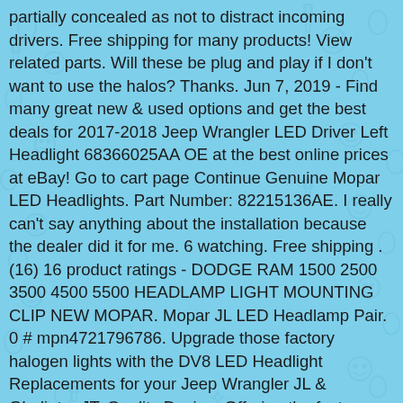partially concealed as not to distract incoming drivers. Free shipping for many products! View related parts. Will these be plug and play if I don't want to use the halos? Thanks. Jun 7, 2019 - Find many great new & used options and get the best deals for 2017-2018 Jeep Wrangler LED Driver Left Headlight 68366025AA OE at the best online prices at eBay! Go to cart page Continue Genuine Mopar LED Headlights. Part Number: 82215136AE. I really can't say anything about the installation because the dealer did it for me. 6 watching. Free shipping . (16) 16 product ratings - DODGE RAM 1500 2500 3500 4500 5500 HEADLAMP LIGHT MOUNTING CLIP NEW MOPAR. Mopar JL LED Headlamp Pair. 0 # mpn4721796786. Upgrade those factory halogen lights with the DV8 LED Headlight Replacements for your Jeep Wrangler JL & Gladiator JT. Quality Design: Offering the factory Mopar quality you expect and keeps your Jeep looking original. Iron Cross Automotive 7" Projector LED Headlights with RGB Accents, for 18-21 Jeep Wrangler JL Unlimited & Gladiator JT, Quadratec Premium Heated LED Projector Beam Headlights.